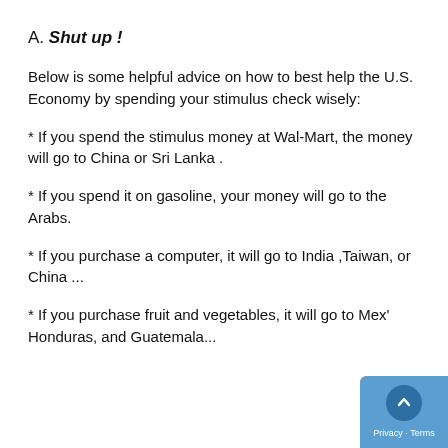A. Shut up !
Below is some helpful advice on how to best help the U.S. Economy by spending your stimulus check wisely:
* If you spend the stimulus money at Wal-Mart, the money will go to China or Sri Lanka .
* If you spend it on gasoline, your money will go to the Arabs.
* If you purchase a computer, it will go to India ,Taiwan, or China ...
* If you purchase fruit and vegetables, it will go to Mex' Honduras, and Guatemala...
Privacy · Terms